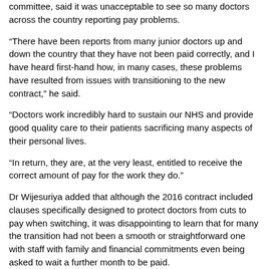committee, said it was unacceptable to see so many doctors across the country reporting pay problems.
“There have been reports from many junior doctors up and down the country that they have not been paid correctly, and I have heard first-hand how, in many cases, these problems have resulted from issues with transitioning to the new contract,” he said.
“Doctors work incredibly hard to sustain our NHS and provide good quality care to their patients sacrificing many aspects of their personal lives.
“In return, they are, at the very least, entitled to receive the correct amount of pay for the work they do.”
Dr Wijesuriya added that although the 2016 contract included clauses specifically designed to protect doctors from cuts to pay when switching, it was disappointing to learn that for many the transition had not been a smooth or straightforward one with staff with family and financial commitments even being asked to wait a further month to be paid.
“I would urge all employers to work and communicate with those doctors who have experienced problems to speedily resolve any issues around underpayment,” he stated.